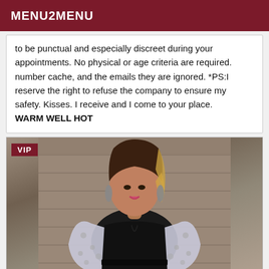MENU2MENU
to be punctual and especially discreet during your appointments. No physical or age criteria are required. number cache, and the emails they are ignored. *PS:I reserve the right to refuse the company to ensure my safety. Kisses. I receive and I come to your place. WARM WELL HOT
[Figure (photo): Woman with blonde-highlighted hair, wearing a black strapless top and floral patterned jacket with a large necklace, posing against a stone wall background. A VIP badge is shown in the top-left corner of the image.]